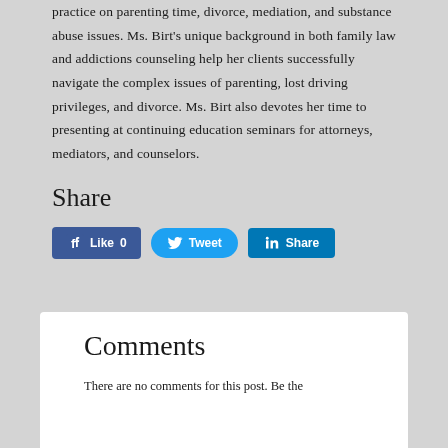practice on parenting time, divorce, mediation, and substance abuse issues. Ms. Birt's unique background in both family law and addictions counseling help her clients successfully navigate the complex issues of parenting, lost driving privileges, and divorce. Ms. Birt also devotes her time to presenting at continuing education seminars for attorneys, mediators, and counselors.
Share
[Figure (other): Social share buttons: Facebook Like (0), Twitter Tweet, LinkedIn Share]
Comments
There are no comments for this post. Be the